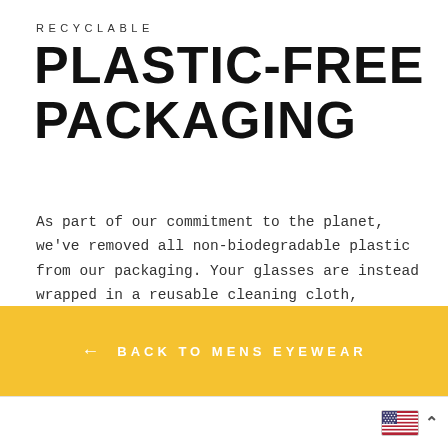RECYCLABLE
PLASTIC-FREE PACKAGING
As part of our commitment to the planet, we've removed all non-biodegradable plastic from our packaging. Your glasses are instead wrapped in a reusable cleaning cloth, protected by a reusable case, and packaged in a recyclable craft card box.
← BACK TO MENS EYEWEAR